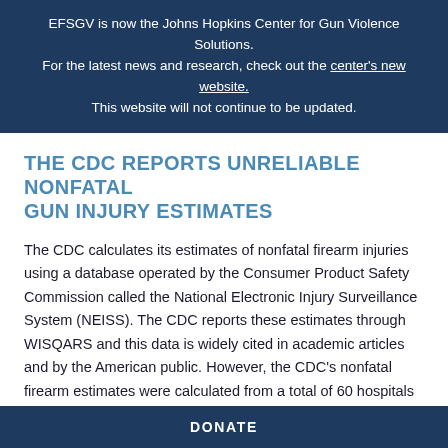EFSGV is now the Johns Hopkins Center for Gun Violence Solutions. For the latest news and research, check out the center's new website. This website will not continue to be updated.
THE CDC REPORTS UNRELIABLE NONFATAL GUN INJURY ESTIMATES
The CDC calculates its estimates of nonfatal firearm injuries using a database operated by the Consumer Product Safety Commission called the National Electronic Injury Surveillance System (NEISS). The CDC reports these estimates through WISQARS and this data is widely cited in academic articles and by the American public. However, the CDC's nonfatal firearm estimates were calculated from a total of 60 hospitals in 2017 — which represent less than 2% of all hospitals across the country.40 This small sample leads to extremely broad estimates of nonfatal injuries and can easily lead to
DONATE